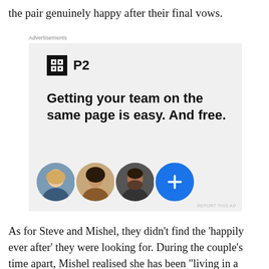the pair genuinely happy after their final vows.
Advertisements
[Figure (infographic): P2 advertisement with logo (black square with grid icon and 'P2' text), headline 'Getting your team on the same page is easy. And free.', and three circular avatar photos of people plus a blue circle with a plus sign.]
REPORT THIS AD
As for Steve and Mishel, they didn't find the 'happily ever after' they were looking for. During the couple's time apart, Mishel realised she has been “living in a bubble” and has lost who she is because “he is so dominating”. After talking